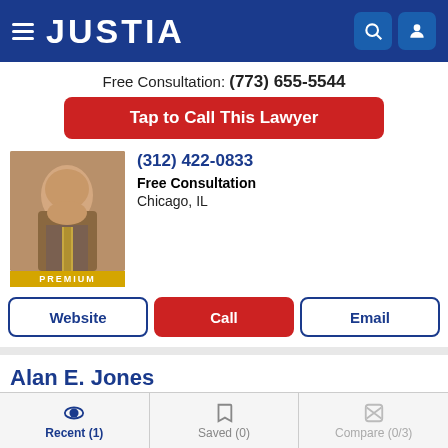JUSTIA
Free Consultation: (773) 655-5544
Tap to Call This Lawyer
(312) 422-0833
Free Consultation
Chicago, IL
PREMIUM
Website
Call
Email
Alan E. Jones
(847) 336-3900
Free Consultation
Waukegan, IL
Recent (1)   Saved (0)   Compare (0/3)